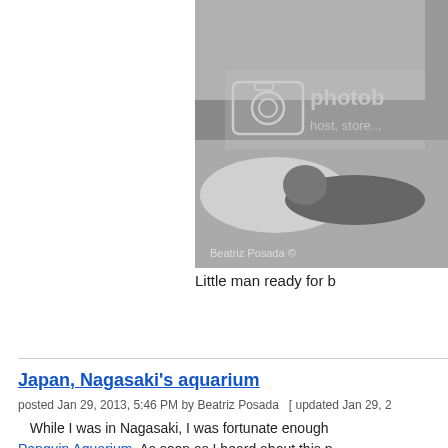[Figure (photo): Black and white photo of a young child lying on a bed, with a Photobucket watermark overlay showing camera icon and text 'photob... host, store...']
Little man ready for b
Japan, Nagasaki's aquarium
posted Jan 29, 2013, 5:46 PM by Beatriz Posada  [ updated Jan 29, 2
While I was in Nagasaki, I was fortunate enough Penguin Aquarium. As soon as I heard about this p after all penguins are my favorite animals. At this o